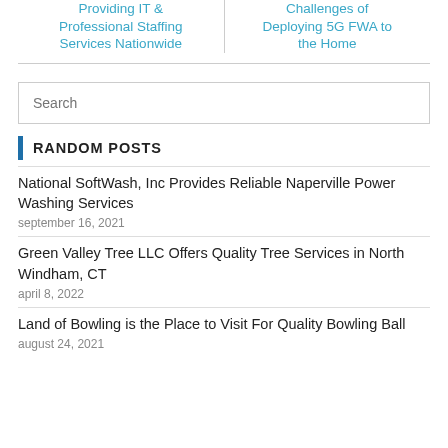Providing IT & Professional Staffing Services Nationwide
Challenges of Deploying 5G FWA to the Home
Search
RANDOM POSTS
National SoftWash, Inc Provides Reliable Naperville Power Washing Services
september 16, 2021
Green Valley Tree LLC Offers Quality Tree Services in North Windham, CT
april 8, 2022
Land of Bowling is the Place to Visit For Quality Bowling Ball
august 24, 2021